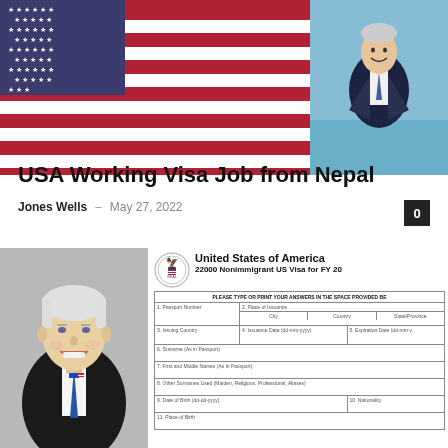[Figure (photo): Top banner with US flag on left and a person in suit on right against blue background]
USA Working Visa Job from Nepal
Jones Wells – May 27, 2022  0
[Figure (photo): Left: Portrait photo of an elderly man in suit with blue tie smiling. Right: United States of America 22000 Nonimmigrant US Visa for FY 20 form with table fields including Passport Number, Place of Issuance, Issuing Country, Issuance Date, Expiration Date, Surname, First and Middle Names, Other Surnames Used, Date of Birth, Nationality, Place of Birth]